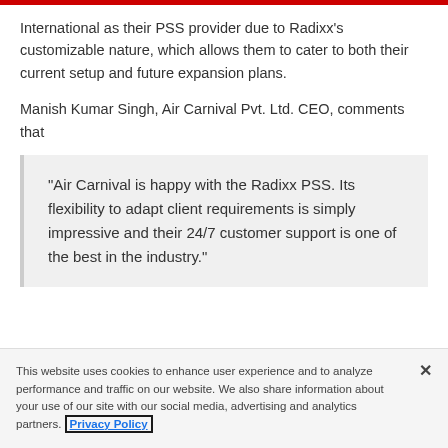International as their PSS provider due to Radixx's customizable nature, which allows them to cater to both their current setup and future expansion plans.
Manish Kumar Singh, Air Carnival Pvt. Ltd. CEO, comments that
“Air Carnival is happy with the Radixx PSS. Its flexibility to adapt client requirements is simply impressive and their 24/7 customer support is one of the best in the industry.”
This website uses cookies to enhance user experience and to analyze performance and traffic on our website. We also share information about your use of our site with our social media, advertising and analytics partners. Privacy Policy